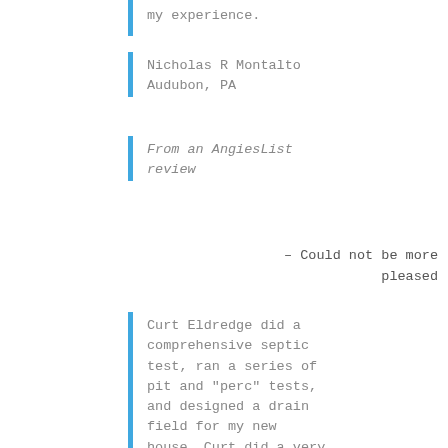my experience.
Nicholas R Montalto
Audubon, PA
From an AngiesList review
– Could not be more pleased
Curt Eldredge did a comprehensive septic test, ran a series of pit and "perc" tests, and designed a drain field for my new house. Curt did a very good job explaining